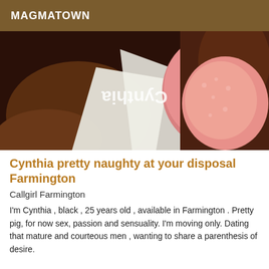MAGMATOWN
[Figure (photo): Close-up photo of a person wearing a white garment and a pink lace bra, with a Cynthia watermark displayed upside-down in white text.]
Cynthia pretty naughty at your disposal Farmington
Callgirl Farmington
I'm Cynthia , black , 25 years old , available in Farmington . Pretty pig, for now sex, passion and sensuality. I'm moving only. Dating that mature and courteous men , wanting to share a parenthesis of desire.